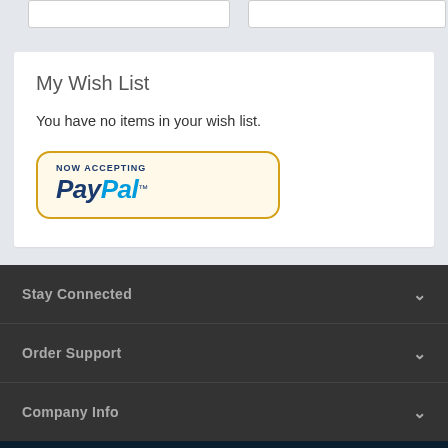My Wish List
You have no items in your wish list.
[Figure (logo): PayPal logo badge with text 'NOW ACCEPTING PayPal™' on a cream/yellow rounded rectangle with gold border]
Stay Connected
Order Support
Company Info
Toll Free: 1-800-000-6473